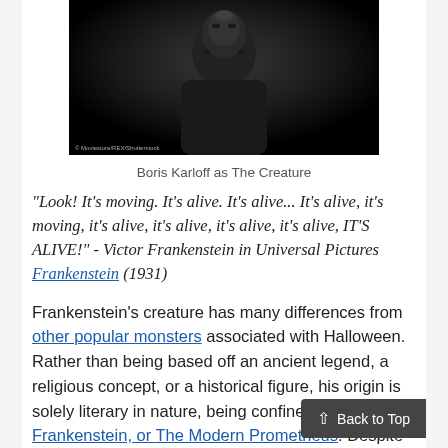[Figure (photo): Black and white photo of Boris Karloff as The Creature (Frankenstein monster) from Universal Pictures]
Boris Karloff as The Creature
"Look! It's moving. It's alive. It's alive... It's alive, it's moving, it's alive, it's alive, it's alive, it's alive, IT'S ALIVE!" - Victor Frankenstein in Universal Pictures Frankenstein (1931)
Frankenstein's creature has many differences from other popular monsters associated with Halloween. Rather than being based off an ancient legend, a religious concept, or a historical figure, his origin is solely literary in nature, being confined to one book, Frankenstein, or The Modern Prometheus. Despite this, public perception of the creature has changed greatly si...